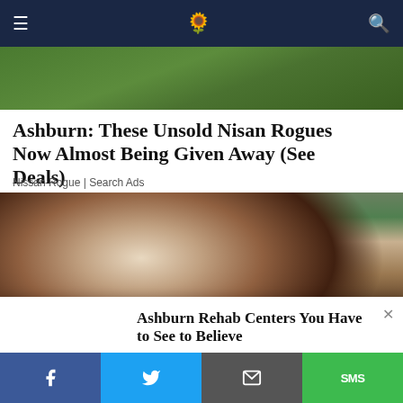[Figure (photo): Green grass/outdoor background image at top, partially visible]
Ashburn: These Unsold Nisan Rogues Now Almost Being Given Away (See Deals)
Nissan Rogue | Search Ads
[Figure (photo): Elderly man with white hair and glasses sleeping in a chair/armchair]
[Figure (photo): Two young women posing in front of graffiti wall]
Ashburn Rehab Centers You Have to See to Believe
Rehab Center | Search Ads | Sponsored
Facebook | Twitter | Email | SMS